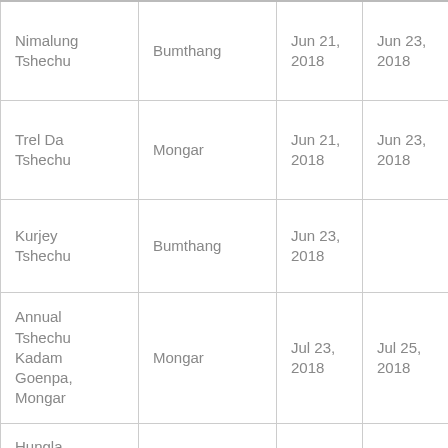| Nimalung Tshechu | Bumthang | Jun 21, 2018 | Jun 23, 2018 |
| Trel Da Tshechu | Mongar | Jun 21, 2018 | Jun 23, 2018 |
| Kurjey Tshechu | Bumthang | Jun 23, 2018 |  |
| Annual Tshechu Kadam Goenpa, Mongar | Mongar | Jul 23, 2018 | Jul 25, 2018 |
| Hungla Chokhor Tokaphu Lhakhang, Trashiyangtse | Trashi Yangtse | Aug 09, 2018 | Aug 11, 2018 |